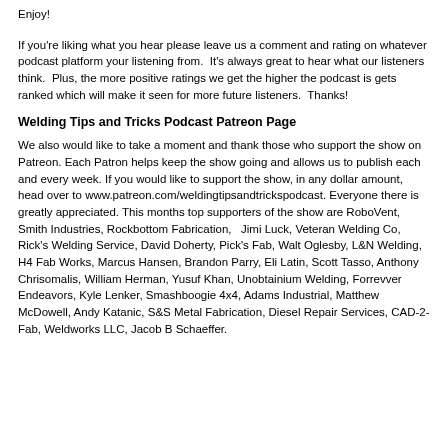Enjoy!
If you're liking what you hear please leave us a comment and rating on whatever podcast platform your listening from.  It's always great to hear what our listeners think.  Plus, the more positive ratings we get the higher the podcast is gets ranked which will make it seen for more future listeners.  Thanks!
Welding Tips and Tricks Podcast Patreon Page
We also would like to take a moment and thank those who support the show on Patreon. Each Patron helps keep the show going and allows us to publish each and every week. If you would like to support the show, in any dollar amount, head over to www.patreon.com/weldingtipsandtrickspodcast. Everyone there is greatly appreciated. This months top supporters of the show are RoboVent, Smith Industries, Rockbottom Fabrication,   Jimi Luck, Veteran Welding Co, Rick's Welding Service, David Doherty, Pick's Fab, Walt Oglesby, L&N Welding, H4 Fab Works, Marcus Hansen, Brandon Parry, Eli Latin, Scott Tasso, Anthony Chrisomalis, William Herman, Yusuf Khan, Unobtainium Welding, Forrevver Endeavors, Kyle Lenker, Smashboogie 4x4, Adams Industrial, Matthew McDowell, Andy Katanic, S&S Metal Fabrication, Diesel Repair Services, CAD-2-Fab, Weldworks LLC, Jacob B Schaeffer.